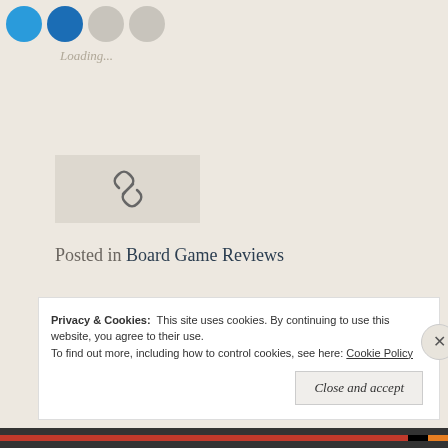[Figure (other): Social media share icons — two blue circles and two gray circles at top left]
Loading...
[Figure (other): Link/chain icon inside a gray rectangle box]
Posted in Board Game Reviews
Tagged board game, boardgame, boardgames, cooperative game, pandemic, review
Privacy & Cookies: This site uses cookies. By continuing to use this website, you agree to their use. To find out more, including how to control cookies, see here: Cookie Policy
Close and accept